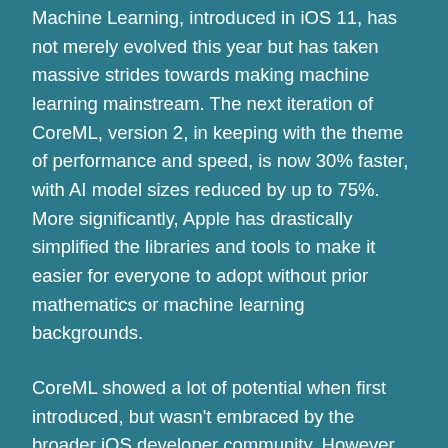Machine Learning, introduced in iOS 11, has not merely evolved this year but has taken massive strides towards making machine learning mainstream. The next iteration of CoreML, version 2, in keeping with the theme of performance and speed, is now 30% faster, with AI model sizes reduced by up to 75%. More significantly, Apple has drastically simplified the libraries and tools to make it easier for everyone to adopt without prior mathematics or machine learning backgrounds.
CoreML showed a lot of potential when first introduced, but wasn't embraced by the broader iOS developer community. However, with the introduction of Create ML this year (a macOS framework), anyone can create CoreML models for use in their apps with greater ease. This new framework integrates with playgrounds in the new Xcode to allow you to visually interact with your model creation workflows in real-time, through merely adding a few lines of Swift code.